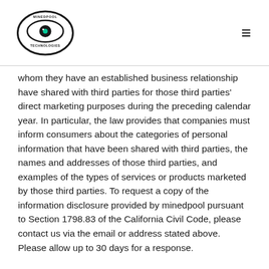[Figure (logo): Minedpool Technologies logo: an eye inside an oval with text 'MINEDPOOL TECHNOLOGIES']
whom they have an established business relationship have shared with third parties for those third parties' direct marketing purposes during the preceding calendar year. In particular, the law provides that companies must inform consumers about the categories of personal information that have been shared with third parties, the names and addresses of those third parties, and examples of the types of services or products marketed by those third parties. To request a copy of the information disclosure provided by minedpool pursuant to Section 1798.83 of the California Civil Code, please contact us via the email or address stated above. Please allow up to 30 days for a response.
If you are a California resident under the age of 18, and a